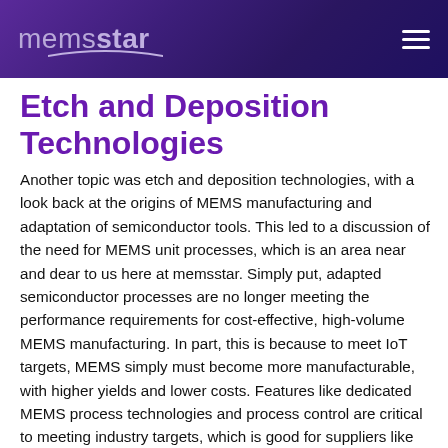memsstar
Etch and Deposition Technologies
Another topic was etch and deposition technologies, with a look back at the origins of MEMS manufacturing and adaptation of semiconductor tools. This led to a discussion of the need for MEMS unit processes, which is an area near and dear to us here at memsstar. Simply put, adapted semiconductor processes are no longer meeting the performance requirements for cost-effective, high-volume MEMS manufacturing. In part, this is because to meet IoT targets, MEMS simply must become more manufacturable, with higher yields and lower costs. Features like dedicated MEMS process technologies and process control are critical to meeting industry targets, which is good for suppliers like memsstar that offer differentiated products and services to address emerging industry demands.